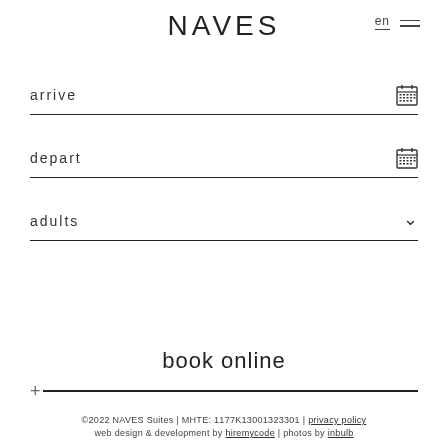NAVES
en ☰
arrive
depart
adults
book online
©2022 NAVES Suites | MHTE: 1177K13001323301 | privacy policy
web design & development by hiremycode | photos by inbulb